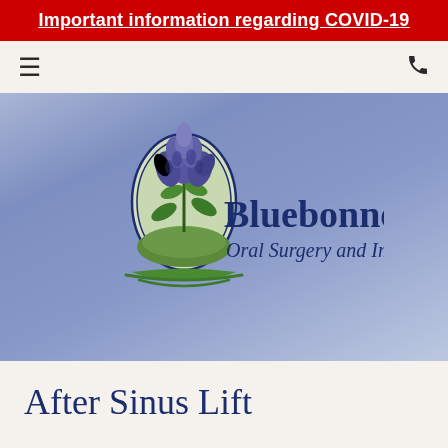Important information regarding COVID-19
[Figure (logo): Bluebonnet Oral Surgery and Implants logo: an oval frame containing a blue bonnet flower illustration above a green landscape, with the text 'Bluebonnet' in large dark blue serif font and 'Oral Surgery and Implants' in dark blue italic script below]
After Sinus Lift